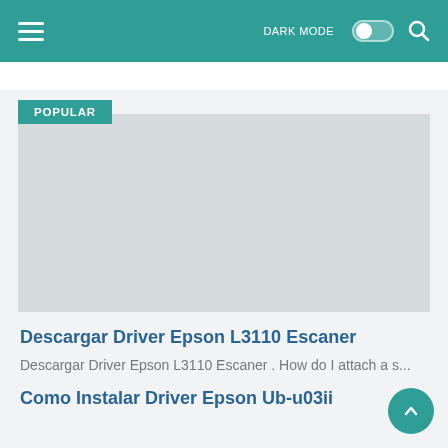DARK MODE [toggle] [search]
[Figure (screenshot): Gray image placeholder rectangle with POPULAR badge overlay in teal]
Descargar Driver Epson L3110 Escaner
Descargar Driver Epson L3110 Escaner . How do I attach a s...
Como Instalar Driver Epson Ub-u03ii